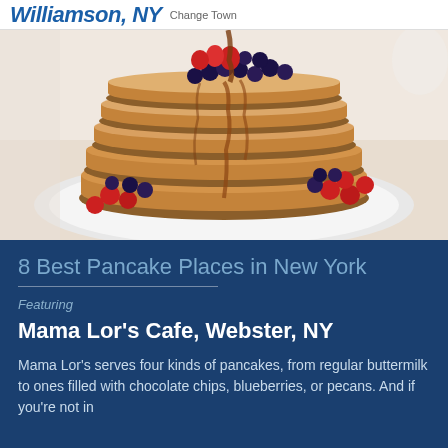Williamson, NY  Change Town
[Figure (photo): Stack of fluffy pancakes topped with blueberries, strawberries, and raspberries, drizzled with maple syrup, served on a white plate with berries around it]
8 Best Pancake Places in New York
Featuring
Mama Lor’s Cafe, Webster, NY
Mama Lor’s serves four kinds of pancakes, from regular buttermilk to ones filled with chocolate chips, blueberries, or pecans. And if you’re not in